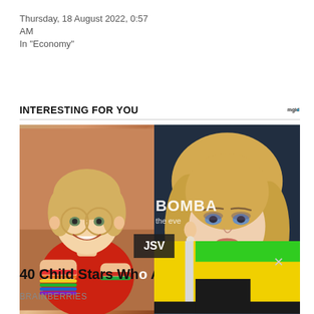Thursday, 18 August 2022, 0:57 AM
In "Economy"
INTERESTING FOR YOU
[Figure (photo): Two-photo collage: left shows a young girl with round glasses and rainbow bracelets smiling; right shows a blonde adult woman at an event with BOMBA signage in background. Below the photos is a colorblock overlay with JSV badge and yellow/green color blocks.]
40 Child Stars Who As Adults
BRAINBERRIES